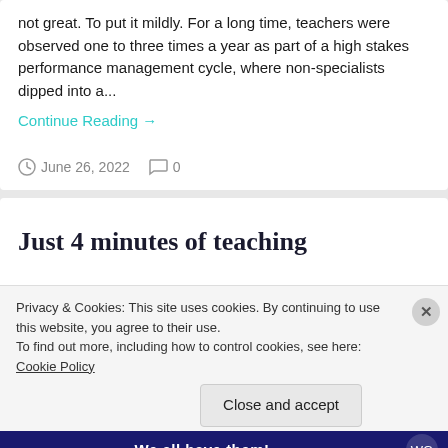not great. To put it mildly. For a long time, teachers were observed one to three times a year as part of a high stakes performance management cycle, where non-specialists dipped into a...
Continue Reading →
June 26, 2022   0
Just 4 minutes of teaching
Privacy & Cookies: This site uses cookies. By continuing to use this website, you agree to their use.
To find out more, including how to control cookies, see here: Cookie Policy
Close and accept
We all have them!